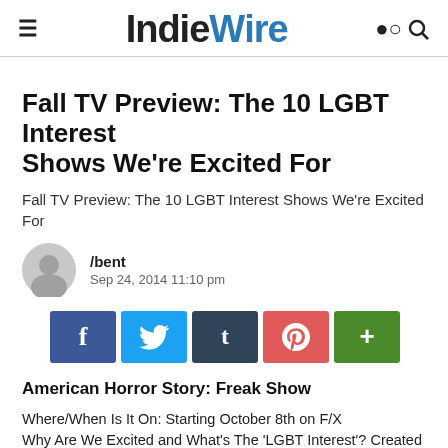IndieWire
Fall TV Preview: The 10 LGBT Interest Shows We're Excited For
Fall TV Preview: The 10 LGBT Interest Shows We're Excited For
/bent
Sep 24, 2014 11:10 pm
[Figure (infographic): Social share buttons: Facebook (f), Twitter (bird icon), Tumblr (t), Pinterest (p circle), More (+)]
American Horror Story: Freak Show
Where/When Is It On: Starting October 8th on F/X
Why Are We Excited and What's The 'LGBT Interest'? Created